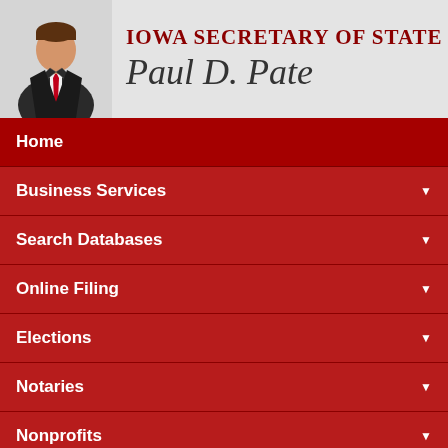[Figure (photo): Photo of Iowa Secretary of State Paul D. Pate in a dark suit with red tie, alongside the office title and name text]
Home
Business Services
Search Databases
Online Filing
Elections
Notaries
Nonprofits
Youth
NOTICE As of July 1, 2021, we provide expedited and preclearance services for business filings under the fee structure shown on the Business Entity Forms & Fees page. If you want to take advantage of these services